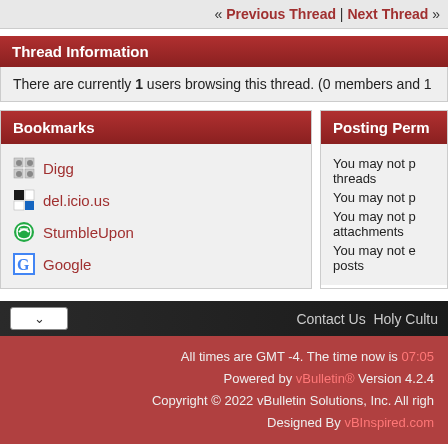« Previous Thread | Next Thread »
Thread Information
There are currently 1 users browsing this thread. (0 members and 1
Bookmarks
Digg
del.icio.us
StumbleUpon
Google
Posting Perm
You may not p threads
You may not p
You may not p attachments
You may not e posts
Contact Us Holy Cultu
All times are GMT -4. The time now is 07:05
Powered by vBulletin® Version 4.2.4
Copyright © 2022 vBulletin Solutions, Inc. All rights reserved.
Designed By vBInspired.com